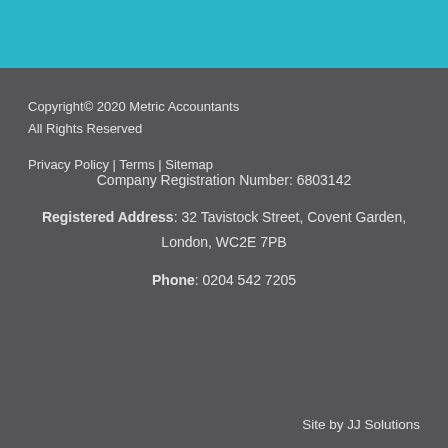Copyright© 2020 Metric Accountants
All Rights Reserved

Privacy Policy | Terms | Sitemap
Company Registration Number: 6803142
Registered Address: 32 Tavistock Street, Covent Garden, London, WC2E 7PB
Phone: 0204 542 7205
Site by JJ Solutions